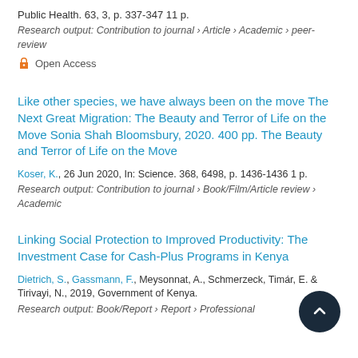Public Health. 63, 3, p. 337-347 11 p.
Research output: Contribution to journal › Article › Academic › peer-review
Open Access
Like other species, we have always been on the move The Next Great Migration: The Beauty and Terror of Life on the Move Sonia Shah Bloomsbury, 2020. 400 pp. The Beauty and Terror of Life on the Move
Koser, K., 26 Jun 2020, In: Science. 368, 6498, p. 1436-1436 1 p.
Research output: Contribution to journal › Book/Film/Article review › Academic
Linking Social Protection to Improved Productivity: The Investment Case for Cash-Plus Programs in Kenya
Dietrich, S., Gassmann, F., Meysonnat, A., Schmerzeck, Timár, E. & Tirivayi, N., 2019, Government of Kenya.
Research output: Book/Report › Report › Professional